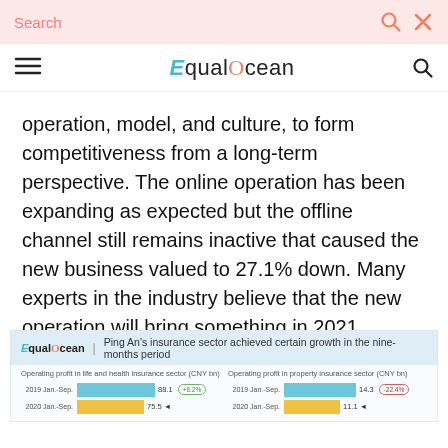Search | EqualOcean
operation, model, and culture, to form competitiveness from a long-term perspective. The online operation has been expanding as expected but the offline channel still remains inactive that caused the new business valued to 27.1% down. Many experts in the industry believe that the new operation will bring something in 2021.
[Figure (bar-chart): Ping An's insurance sector achieved certain growth in the nine-months period]